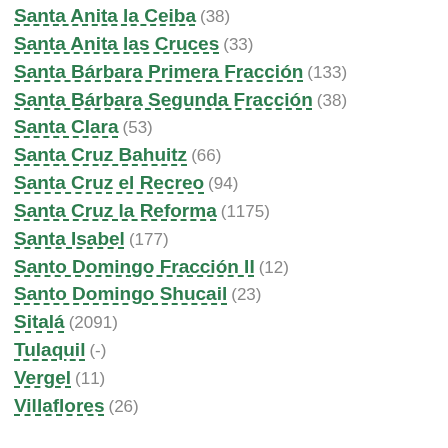Santa Anita la Ceiba (38)
Santa Anita las Cruces (33)
Santa Bárbara Primera Fracción (133)
Santa Bárbara Segunda Fracción (38)
Santa Clara (53)
Santa Cruz Bahuitz (66)
Santa Cruz el Recreo (94)
Santa Cruz la Reforma (1175)
Santa Isabel (177)
Santo Domingo Fracción II (12)
Santo Domingo Shucail (23)
Sitalá (2091)
Tulaquil (-)
Vergel (11)
Villaflores (26)